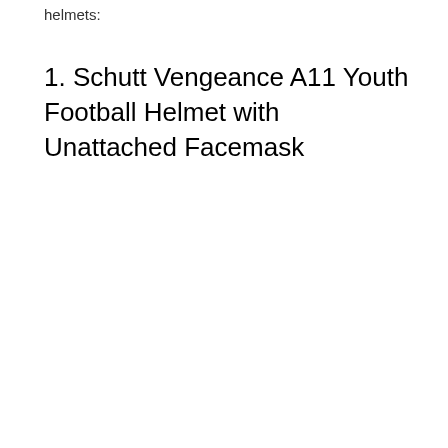helmets:
1. Schutt Vengeance A11 Youth Football Helmet with Unattached Facemask